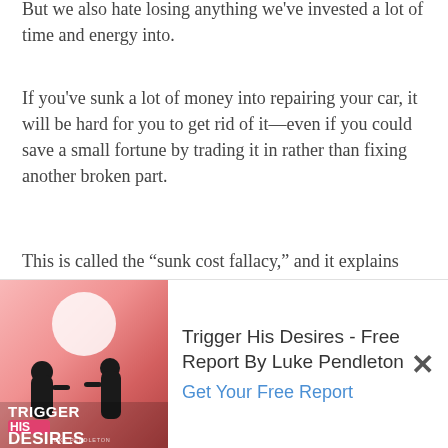But we also hate losing anything we've invested a lot of time and energy into.
If you've sunk a lot of money into repairing your car, it will be hard for you to get rid of it—even if you could save a small fortune by trading it in rather than fixing another broken part.
This is called the “sunk cost fallacy,” and it explains why we hold on hardest to relationships we’ve put a lot of work into.
...st fallacy makes us reluctant to give ...ething we've invested in...even if
[Figure (illustration): Book cover for 'Trigger His Desires' by Luke Pendleton, showing silhouettes of a couple against a pink/red sunset background with a white circle/sun. Title text reads TRIGGER HIS DESIRES.]
Trigger His Desires - Free Report By Luke Pendleton
Get Your Free Report